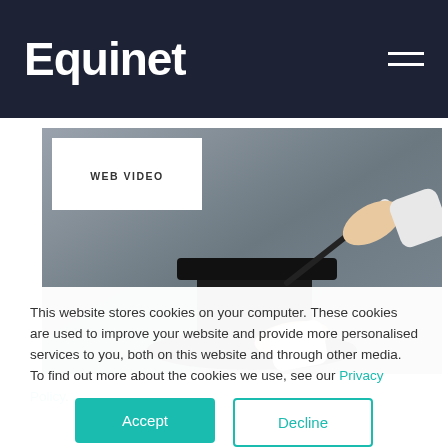Equinet
[Figure (photo): A person in a white shirt using a magic wand over a top hat, against a grey background. White overlay badge reads 'WEB VIDEO'.]
This website stores cookies on your computer. These cookies are used to improve your website and provide more personalised services to you, both on this website and through other media. To find out more about the cookies we use, see our Privacy Policy.
Accept
Decline